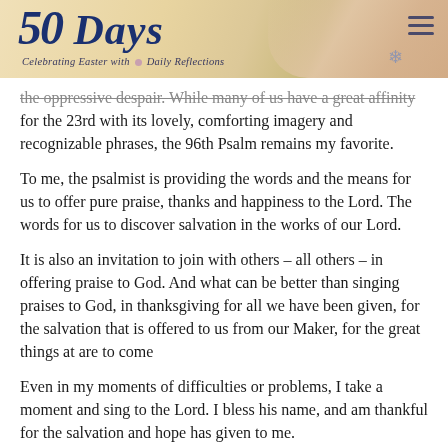50 Days — Celebrating Easter with Daily Reflections
the oppressive despair. While many of us have a great affinity for the 23rd with its lovely, comforting imagery and recognizable phrases, the 96th Psalm remains my favorite.
To me, the psalmist is providing the words and the means for us to offer pure praise, thanks and happiness to the Lord.  The words for us to discover salvation in the works of our Lord.
It is also an invitation to join with others – all others – in offering praise to God.  And what can be better than singing praises to God, in thanksgiving for all we have been given, for the salvation that is offered to us from our Maker, for the great things at are to come
Even in my moments of difficulties or problems, I take a moment and sing to the Lord.  I bless his name, and am thankful for the salvation and hope has given to me.
Respond
Be thankful for all you have been given.  Several times this day, reflect on what in your life for which you give thanks. Write them down and offer prayers to God for them. For the people on your list, email, call, or share your thanksgiving for them in